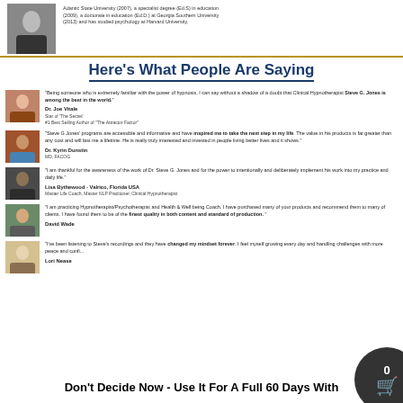Adantic State University (2007), a specialist degree (Ed.S) in education (2009), a doctorate in education (Ed.D.) at Georgia Southern University (2013) and has studied psychology at Harvard University.
Here's What People Are Saying
"Being someone who is extremely familiar with the power of hypnosis, I can say without a shadow of a doubt that Clinical Hypnotherapist Steve G. Jones is among the best in the world."

Dr. Joe Vitale
Star of 'The Secret'
#1 Best Selling Author of "The Attractor Factor"
"Steve G Jones' programs are accessible and informative and have inspired me to take the next step in my life. The value in his products is far greater than any cost and will last me a lifetime. He is really truly interested and invested in people living better lives and it shows."

Dr. Kyrin Dunstin
MD, FACOG
"I am thankful for the awareness of the work of Dr. Steve G. Jones and for the power to intentionally and deliberately implement his work into my practice and daily life."

Lisa Bythewood - Valrico, Florida USA
Master Life Coach, Master NLP Practioner, Clinical Hypnotherapist
"I am practicing Hypnotherapist/Psychotherapist and Health & Well being Coach. I have purchased many of your products and recommend them to many of clients. I have found them to be of the finest quality in both content and standard of production."

David Wade
"I've been listening to Steve's recordings and they have changed my mindset forever. I feel myself growing every day and handling challenges with more peace and confidence."

Lori Nease
Don't Decide Now - Use It For A Full 60 Days With